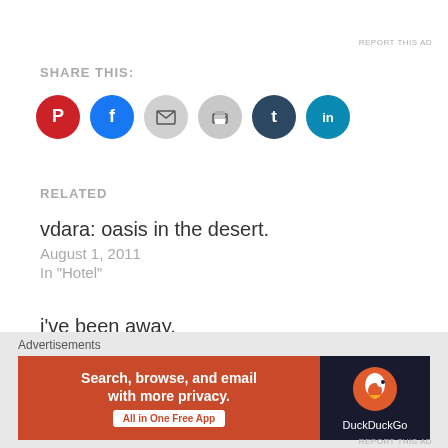REPORT THIS AD
SHARE THIS:
[Figure (other): Social sharing icons: Pinterest (red), Facebook (blue), Email (gray), Print (gray), Tumblr (dark navy), LinkedIn (teal)]
RELATED
vdara: oasis in the desert.
August 1, 2011
In "Hotel"
i've been away.
October 19, 2012
In "Food"
Advertisements
[Figure (infographic): DuckDuckGo advertisement banner: 'Search, browse, and email with more privacy. All in One Free App' with DuckDuckGo logo on dark background]